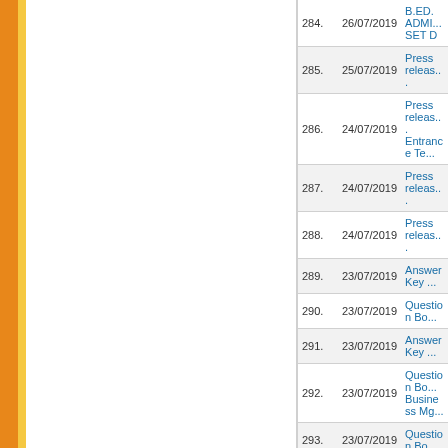| # | Date | Title |
| --- | --- | --- |
| 284. | 26/07/2019 | B.ED. ADMI... SET D |
| 285. | 25/07/2019 | Press releas... |
| 286. | 24/07/2019 | Press releas... Entrance Te... |
| 287. | 24/07/2019 | Press releas... |
| 288. | 24/07/2019 | Press releas... |
| 289. | 23/07/2019 | Answer Key ... |
| 290. | 23/07/2019 | Question Bo... |
| 291. | 23/07/2019 | Answer Key ... |
| 292. | 23/07/2019 | Question Bo... Business Mg... |
| 293. | 23/07/2019 | Question Bo... |
| 294. | 23/07/2019 | Question Bo... |
| 295. | 23/07/2019 | Question Bo... |
| 296. | 23/07/2019 | Question Bo... |
| 297. | 23/07/2019 | Question Bo... |
| 298. | 23/07/2019 | Press Relea... |